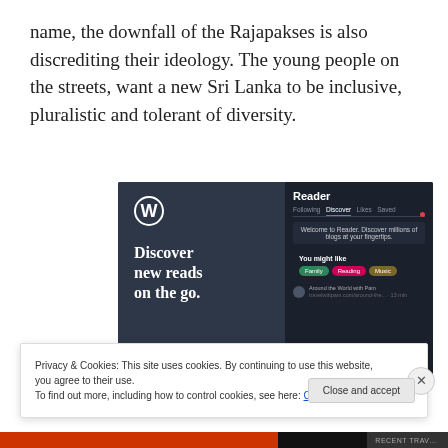name, the downfall of the Rajapakses is also discrediting their ideology. The young people on the streets, want a new Sri Lanka to be inclusive, pluralistic and tolerant of diversity.
[Figure (screenshot): WordPress.com advertisement showing 'Discover new reads on the go.' with Reader app screenshot showing Following, Discover, Likes, Saved tabs and 'You might like' section with topic pills (Family, Reading, Music) and 'Around the World with Pam' blog suggestion.]
Privacy & Cookies: This site uses cookies. By continuing to use this website, you agree to their use.
To find out more, including how to control cookies, see here: Cookie Policy